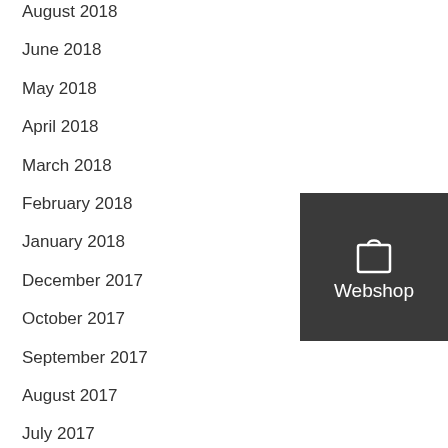August 2018
June 2018
May 2018
April 2018
March 2018
February 2018
January 2018
December 2017
October 2017
September 2017
August 2017
July 2017
June 2017
May 2017
April 2017
[Figure (illustration): Webshop button with shopping bag icon on dark grey background]